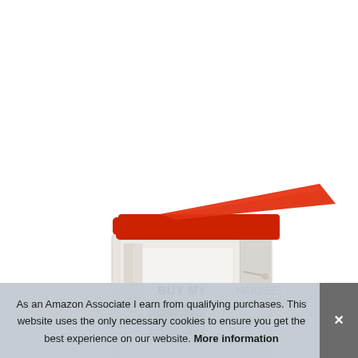[Figure (photo): A plastic mailbox or file storage box with a red hinged lid, slightly open, containing papers/cards. One card is visible showing bold text 'BUY MY HOUSE!' with a small image of a house below the text. The box appears to be a clear/translucent plastic container.]
As an Amazon Associate I earn from qualifying purchases. This website uses the only necessary cookies to ensure you get the best experience on our website. More information